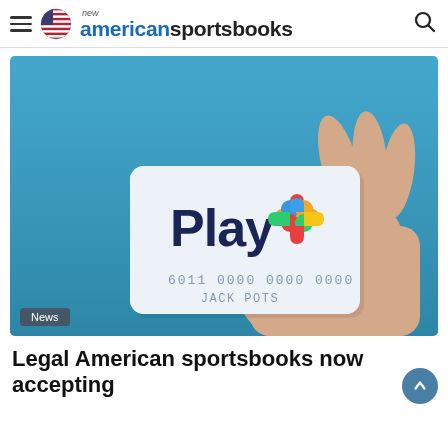new americansportsbooks
[Figure (illustration): A hand holding a Play+ prepaid card with the number 6011 0000 0000 0000 and name JACK POTS, on a teal/blue background. A 'News' badge appears in the bottom left of the image.]
Legal American sportsbooks now accepting